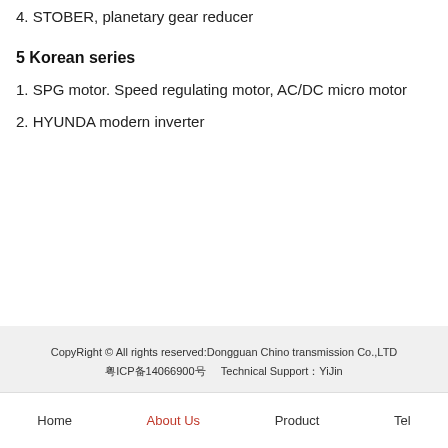4. STOBER, planetary gear reducer
5 Korean series
1. SPG motor. Speed regulating motor, AC/DC micro motor
2. HYUNDA modern inverter
CopyRight © All rights reserved:Dongguan Chino transmission Co.,LTD
粤ICP备14066900号    Technical Support：YiJin
Home   About Us   Product   Tel